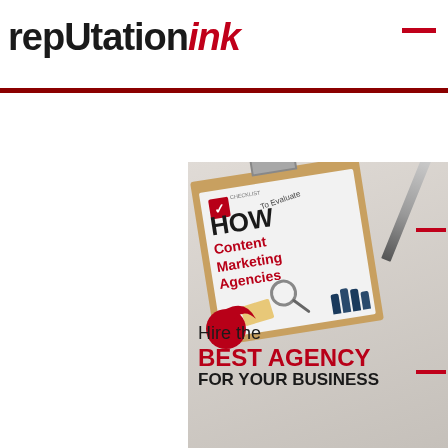REPUTATION ink
[Figure (screenshot): Dropdown widget showing 'Select Month' with a down arrow, followed by a promotional image for 'How To Evaluate Content Marketing Agencies' checklist showing a clipboard with text 'Hire the BEST AGENCY FOR YOUR BUSINESS']